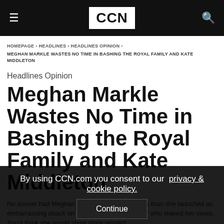CCN
HOMEPAGE › HEADLINES › HEADLINES OPINION › MEGHAN MARKLE WASTES NO TIME IN BASHING THE ROYAL FAMILY AND KATE MIDDLETON
Headlines Opinion
Meghan Markle Wastes No Time in Bashing the Royal Family and Kate Middleton
No sooner had Meghan Markle landed in Canada than she launched an embarrassing attack on the royals via her "friend" who leaked her views. You'd think she would show more respect...
By using CCN.com you consent to our privacy & cookie policy. Continue